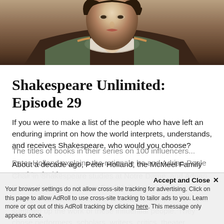[Figure (photo): A pre-Raphaelite style painting of a woman with fair skin, dark hair, wearing a lace-collared garment, looking upward, against a dark background.]
Shakespeare Unlimited: Episode 29
If you were to make a list of the people who have left an enduring imprint on how the world interprets, understands, and receives Shakespeare, who would you choose?
About a decade ago, Peter Holland, the McMeel Family Chair in Shakespeare studies at Notre Dame, and Adrian Poole, the former chair in English literature at Trinity College, Cambridge, set out to create a compendium that summed up the work of these influential people. They chose performers, scholars, writers, critics, theater directors, and others.
The titles of books in their series on 100 influencers... Peter Holland explains the rationale he and Adrian Poole used to decide
Your browser settings do not allow cross-site tracking for advertising. Click on this page to allow AdRoll to use cross-site tracking to tailor ads to you. Learn more or opt out of this AdRoll tracking by clicking here. This message only appears once.